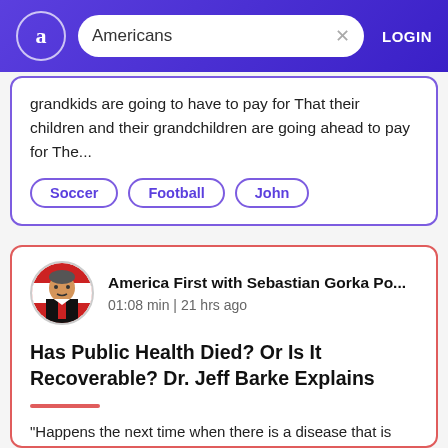Americans | LOGIN
grandkids are going to have to pay for That their children and their grandchildren are going ahead to pay for The...
Soccer
Football
John
America First with Sebastian Gorka Po...
01:08 min | 21 hrs ago
Has Public Health Died? Or Is It Recoverable? Dr. Jeff Barke Explains
"Happens the next time when there is a disease that is lethal to children or isn't just killing people because they have preexisting conditions. Has public health as a functio